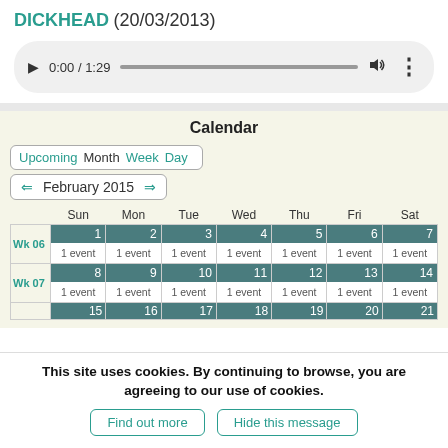DICKHEAD (20/03/2013)
[Figure (other): Audio player UI showing play button, time 0:00 / 1:29, progress bar, volume icon, and more options icon]
Calendar
[Figure (other): Calendar navigation tabs: Upcoming, Month, Week, Day]
[Figure (other): Month navigation showing February 2015 with left and right arrows]
|  | Sun | Mon | Tue | Wed | Thu | Fri | Sat |
| --- | --- | --- | --- | --- | --- | --- | --- |
| Wk 06 | 1 | 2 | 3 | 4 | 5 | 6 | 7 |
|  | 1 event | 1 event | 1 event | 1 event | 1 event | 1 event | 1 event |
| Wk 07 | 8 | 9 | 10 | 11 | 12 | 13 | 14 |
|  | 1 event | 1 event | 1 event | 1 event | 1 event | 1 event | 1 event |
|  | 15 | 16 | 17 | 18 | 19 | 20 | 21 |
This site uses cookies. By continuing to browse, you are agreeing to our use of cookies.
Find out more
Hide this message